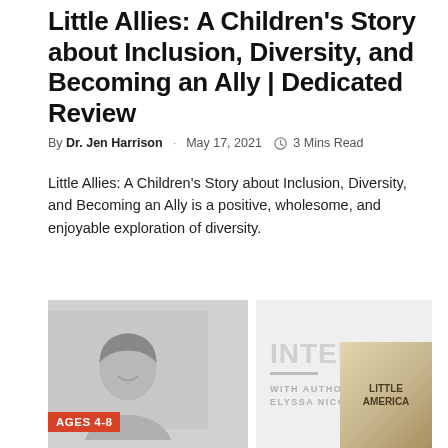Little Allies: A Children's Story about Inclusion, Diversity, and Becoming an Ally | Dedicated Review
By Dr. Jen Harrison · May 17, 2021 · 3 Mins Read
Little Allies: A Children's Story about Inclusion, Diversity, and Becoming an Ally is a positive, wholesome, and enjoyable exploration of diversity.
[Figure (photo): Author photo showing a woman smiling, with an 'AGES 4-8' badge overlaid at the bottom, alongside a decorative 'INTERVIEW WITH AUTHOR ELYSSA NICOLE TRUST' graphic and a book cover thumbnail.]